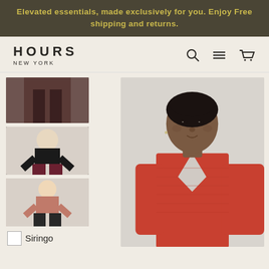Elevated essentials, made exclusively for you. Enjoy Free shipping and returns.
[Figure (logo): HOURS NEW YORK brand logo with navigation icons (search, menu, cart)]
[Figure (photo): Thumbnail 1: close-up of dark pants/lower body on model]
[Figure (photo): Thumbnail 2: model in black top with wine pants]
[Figure (photo): Thumbnail 3: model in pink/rose top]
[Figure (photo): Main product photo: Black woman model wearing an orange-red V-neck long sleeve knit top, cropped at waist, posed against light grey background]
Siringo